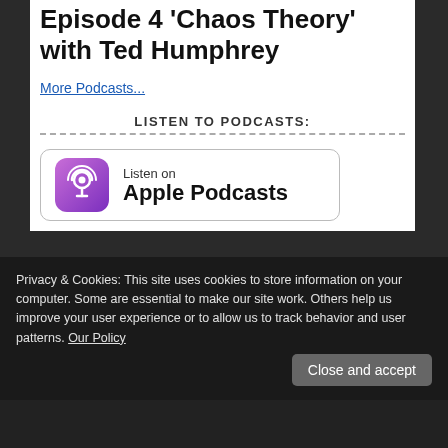Episode 4 'Chaos Theory' with Ted Humphrey
More Podcasts...
LISTEN TO PODCASTS:
[Figure (logo): Listen on Apple Podcasts badge with purple podcast icon]
Privacy & Cookies: This site uses cookies to store information on your computer. Some are essential to make our site work. Others help us improve your user experience or to allow us to track behavior and user patterns. Our Policy
Close and accept